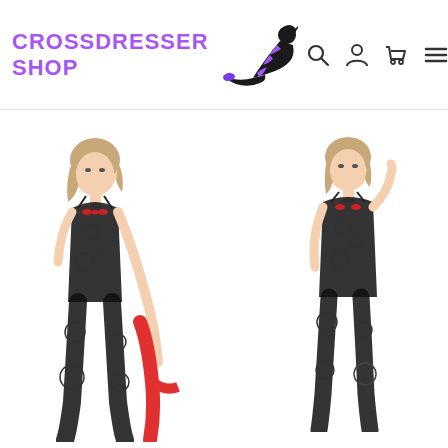CROSSDRESSER SHOP
[Figure (photo): Two female models wearing black floral lace bodystocking lingerie on white background. Left model poses with a red chair, right model poses with hand near head.]